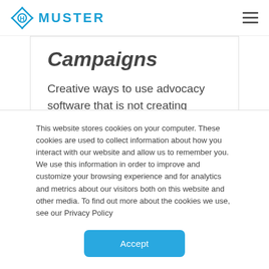MUSTER
Campaigns
Creative ways to use advocacy software that is not creating advocacy campaigns
CLEO DAN    JAN 12, 2017
This website stores cookies on your computer. These cookies are used to collect information about how you interact with our website and allow us to remember you. We use this information in order to improve and customize your browsing experience and for analytics and metrics about our visitors both on this website and other media. To find out more about the cookies we use, see our Privacy Policy
Accept